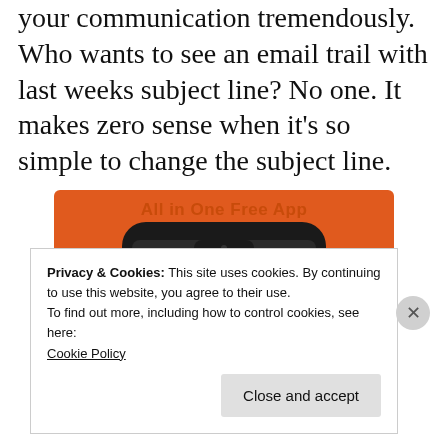your communication tremendously. Who wants to see an email trail with last weeks subject line? No one. It makes zero sense when it's so simple to change the subject line.
[Figure (screenshot): DuckDuckGo 'All in One Free App' promotional image showing a smartphone with the DuckDuckGo duck logo on an orange background]
Privacy & Cookies: This site uses cookies. By continuing to use this website, you agree to their use.
To find out more, including how to control cookies, see here: Cookie Policy